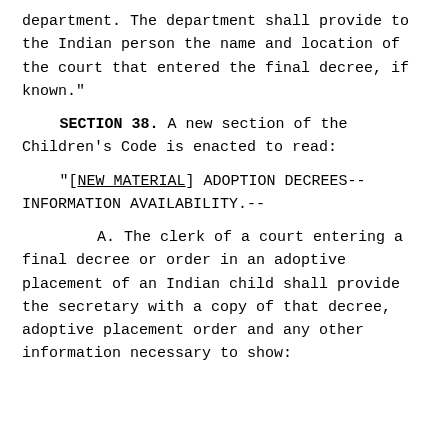department. The department shall provide to the Indian person the name and location of the court that entered the final decree, if known."
SECTION 38. A new section of the Children's Code is enacted to read:
"[NEW MATERIAL] ADOPTION DECREES--INFORMATION AVAILABILITY.--
A. The clerk of a court entering a final decree or order in an adoptive placement of an Indian child shall provide the secretary with a copy of that decree, adoptive placement order and any other information necessary to show: